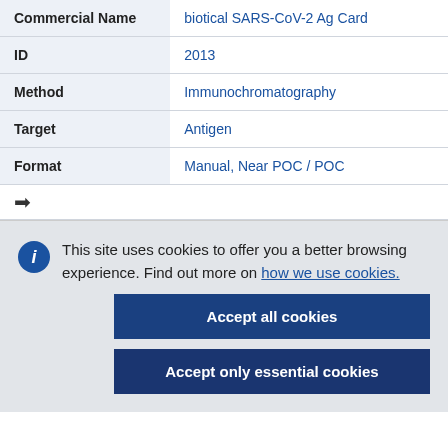| Field | Value |
| --- | --- |
| Commercial Name | biotical SARS-CoV-2 Ag Card |
| ID | 2013 |
| Method | Immunochromatography |
| Target | Antigen |
| Format | Manual, Near POC / POC |
This site uses cookies to offer you a better browsing experience. Find out more on how we use cookies.
Accept all cookies
Accept only essential cookies